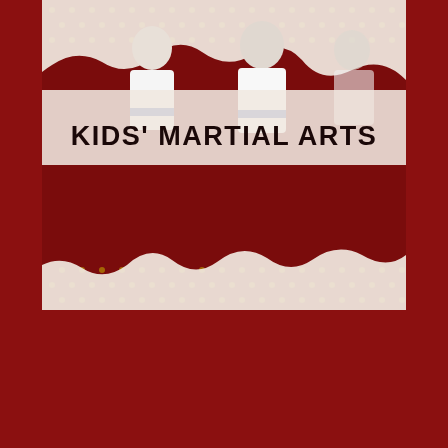[Figure (photo): Children in white martial arts gi (karate uniforms) with blue belts, posed in front of a dark red background with a small dot/star pattern. The image has a torn paper effect at top and bottom edges, revealing the red background beneath.]
KIDS' MARTIAL ARTS